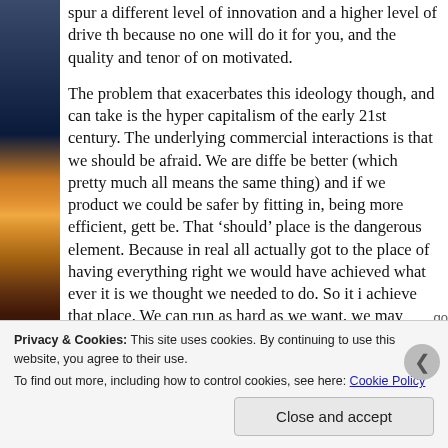[Figure (photo): Vertical strip image on the left side showing a sunset or sunrise over water/landscape with orange and dark tones]
spur a different level of innovation and a higher level of drive th... because no one will do it for you, and the quality and tenor of on... motivated.
The problem that exacerbates this ideology though, and can take ... is the hyper capitalism of the early 21st century. The underlying ... commercial interactions is that we should be afraid. We are diffe... be better (which pretty much all means the same thing) and if we... product we could be safer by fitting in, being more efficient, gett... be. That ‘should’ place is the dangerous element. Because in real... all actually got to the place of having everything right we would ... have achieved what ever it is we thought we needed to do. So it i... achieve that place. We can run as hard as we want, we may even...
Privacy & Cookies: This site uses cookies. By continuing to use this website, you agree to their use.
To find out more, including how to control cookies, see here: Cookie Policy
Close and accept